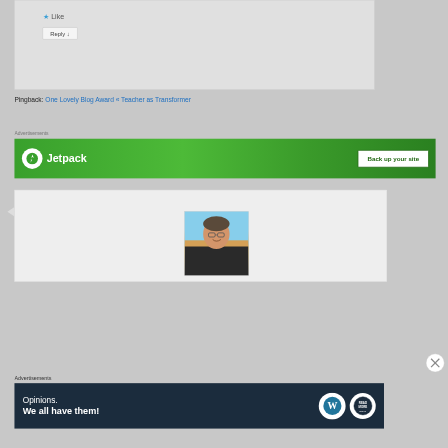[Figure (screenshot): Reply button UI element with gray background and 'Reply ↓' button]
Pingback: One Lovely Blog Award « Teacher as Transformer
Advertisements
[Figure (screenshot): Jetpack advertisement banner with green background, Jetpack logo, and 'Back up your site' button]
[Figure (photo): User avatar photo showing a person wearing glasses, smiling, outdoors at sunset]
Advertisements
[Figure (screenshot): WordPress advertisement banner with dark navy background showing 'Opinions. We all have them!' text with WordPress and other logos]